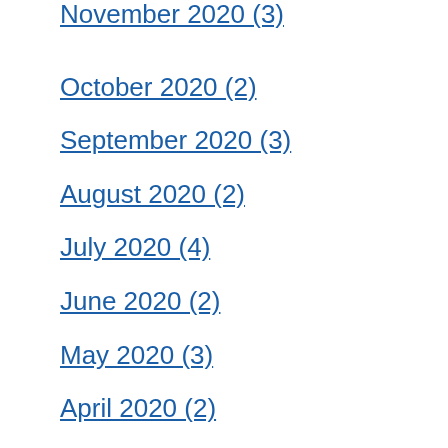November 2020 (3)
October 2020 (2)
September 2020 (3)
August 2020 (2)
July 2020 (4)
June 2020 (2)
May 2020 (3)
April 2020 (2)
March 2020 (3)
February 2020 (3)